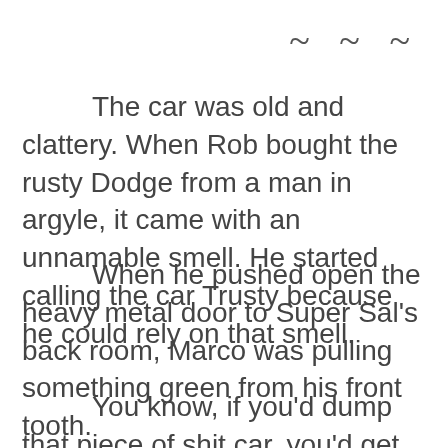~ ~ ~
The car was old and clattery. When Rob bought the rusty Dodge from a man in argyle, it came with an unnamable smell. He started calling the car Trusty because he could rely on that smell.
When he pushed open the heavy metal door to Super Sal's back room, Marco was pulling something green from his front tooth.
You know, if you'd dump that piece of shit car, you'd get here on